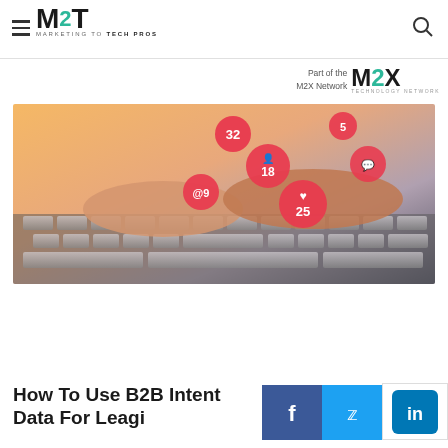M2T — Marketing To Tech Pros
[Figure (logo): M2X Network Technology Network logo badge in top right]
[Figure (photo): Hands typing on laptop keyboard with floating social media notification icons (32, 5, 18, @9, 25, heart) in red bubble style]
How To Use B2B Intent Data For Le[ad] Genagi[ng]
[Figure (other): Facebook, Twitter, and LinkedIn social share buttons]